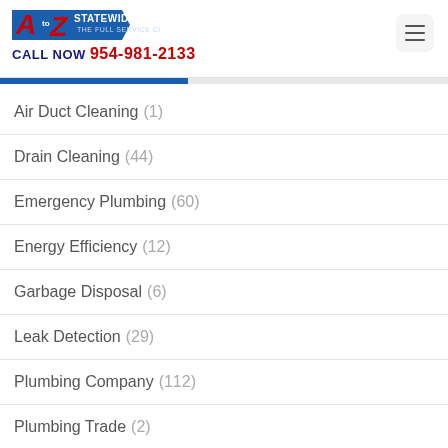A to Z Statewide Plumbing – CALL NOW 954-981-2133
Air Duct Cleaning (1)
Drain Cleaning (44)
Emergency Plumbing (60)
Energy Efficiency (12)
Garbage Disposal (6)
Leak Detection (29)
Plumbing Company (112)
Plumbing Trade (2)